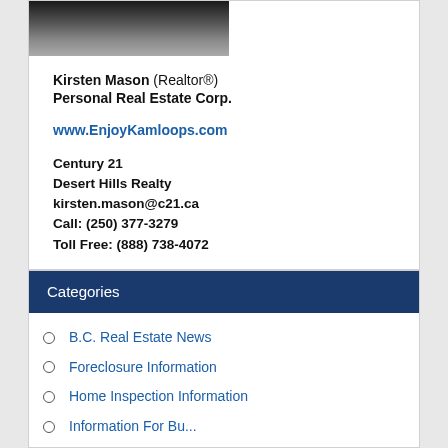[Figure (photo): Partial photo of Kirsten Mason, showing hair and top of head/shoulders, dark background]
Kirsten Mason (Realtor®)
Personal Real Estate Corp.
www.EnjoyKamloops.com
Century 21
Desert Hills Realty
kirsten.mason@c21.ca
Call: (250) 377-3279
Toll Free: (888) 738-4072
Categories
B.C. Real Estate News
Foreclosure Information
Home Inspection Information
Information For Bu...